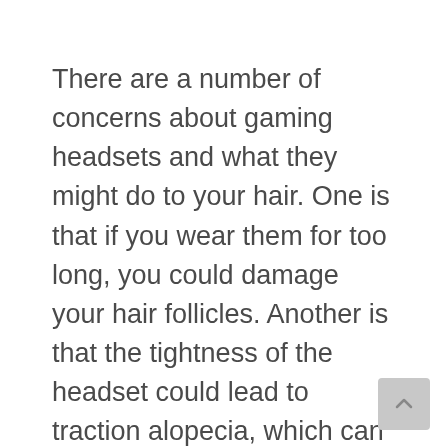There are a number of concerns about gaming headsets and what they might do to your hair. One is that if you wear them for too long, you could damage your hair follicles. Another is that the tightness of the headset could lead to traction alopecia, which can be permanent.
Some gamers have reported experiencing hair loss from wearing their headsets for long periods of time, but there is no scientific evidence to back up these claims.